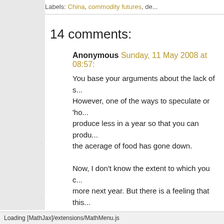Labels: China, commodity futures, de...
14 comments:
Anonymous Sunday, 11 May 2008 at 08:57:
You base your arguments about the lack of s... However, one of the ways to speculate or 'ho... produce less in a year so that you can produ... the acerage of food has gone down.

Now, I don't know the extent to which you c... more next year. But there is a feeling that this...
Reply
Anonymous Sunday, 11 May 2008 at 11:44:
Really good analysis
Loading [MathJax]/extensions/MathMenu.js